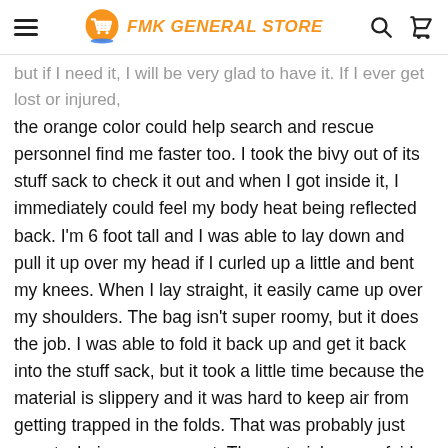FMK GENERAL STORE
but if I need it, I will be very glad to have it. If I ever get lost or injured, the orange color could help search and rescue personnel find me faster too. I took the bivy out of its stuff sack to check it out and when I got inside it, I immediately could feel my body heat being reflected back. I'm 6 foot tall and I was able to lay down and pull it up over my head if I curled up a little and bent my knees. When I lay straight, it easily came up over my shoulders. The bag isn't super roomy, but it does the job. I was able to fold it back up and get it back into the stuff sack, but it took a little time because the material is slippery and it was hard to keep air from getting trapped in the folds. That was probably just poor technique on my part. The material seems fairly tough, but because it is thin I'd imagine that sharp rocks or sticks might poke a hole or rip it, so I wouldn't expect it to stand up to frequent use. But that's not what I bought it for anyway. I'm keeping it for emergency use only and because it weighs about 4 ounces, I won't mind carrying it with me. The price is reasonable too and won't break the bank if I need to replace it if it got damaged. If you are a hunter, backpacker, or hiker, I would